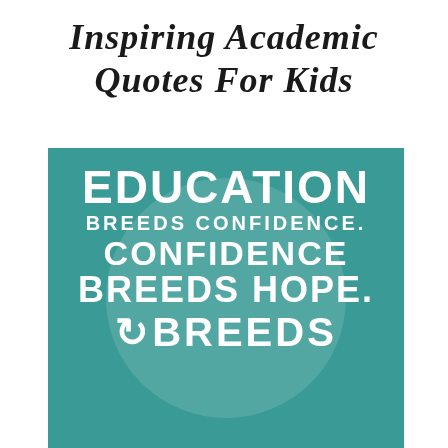Inspiring Academic Quotes For Kids
[Figure (illustration): Teal/green background motivational quote graphic with white block letters reading: EDUCATION BREEDS CONFIDENCE. CONFIDENCE BREEDS HOPE. [BREEDS...] with a faint circle watermark in the background.]